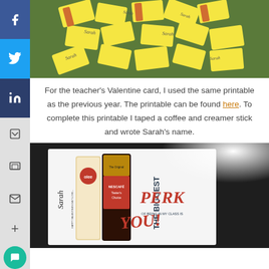[Figure (photo): Pile of yellow and red candy wrappers with 'Sarah' written on them, scattered on a green surface]
For the teacher's Valentine card, I used the same printable as the previous year. The printable can be found here. To complete this printable I taped a coffee and creamer stick and wrote Sarah's name.
[Figure (photo): A Valentine's Day card printable with 'THE BIGGEST PERK' text, with a Nescafe Taster's Choice coffee stick and creamer taped to it, with 'Sarah' written on it]